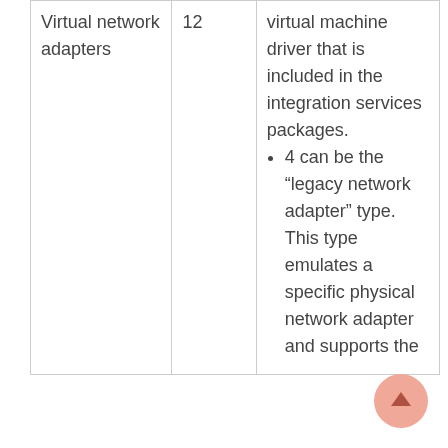| Feature | Maximum | Notes |
| --- | --- | --- |
| Virtual network adapters | 12 | virtual machine driver that is included in the integration services packages.
4 can be the “legacy network adapter” type. This type emulates a specific physical network adapter and supports the |